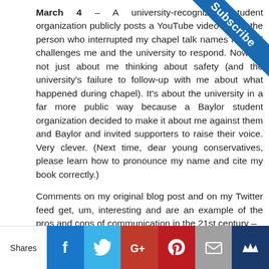March 4 – A university-recognized student organization publicly posts a YouTube video where the person who interrupted my chapel talk names me and challenges me and the university to respond. Now it's not just about me thinking about safety (and the university's failure to follow-up with me about what happened during chapel). It's about the university in a far more public way because a Baylor student organization decided to make it about me against them and Baylor and invited supporters to raise their voice. Very clever. (Next time, dear young conservatives, please learn how to pronounce my name and cite my book correctly.)
Comments on my original blog post and on my Twitter feed get, um, interesting and are an example of the pros and cons of communication in the 21st century –